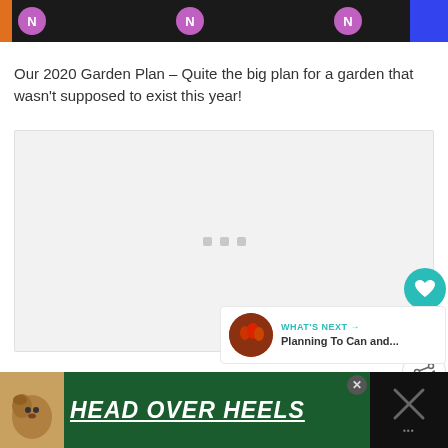N N N
Our 2020 Garden Plan – Quite the big plan for a garden that wasn't supposed to exist this year!
[Figure (photo): Gray placeholder image box with three small gray squares centered, representing a garden plan image]
[Figure (infographic): What's Next widget with thumbnail image of tomatoes and text: WHAT'S NEXT → Planning To Can and...]
[Figure (infographic): Bottom advertisement banner: HEAD OVER HEELS text on dark green background with dog illustration]